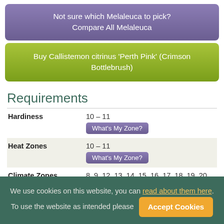Not sure which Melaleuca to pick? Compare All Melaleuca
Buy Callistemon citrinus 'Perth Pink' (Crimson Bottlebrush)
Requirements
| Hardiness | 10 – 11
What's My Zone? |
| Heat Zones | 10 – 11
What's My Zone? |
| Climate Zones | 8, 9, 12, 13, 14, 15, 16, 17, 18, 19, 20, 21, 22, ... |
We use cookies on this website, you can read about them here. To use the website as intended please Accept Cookies